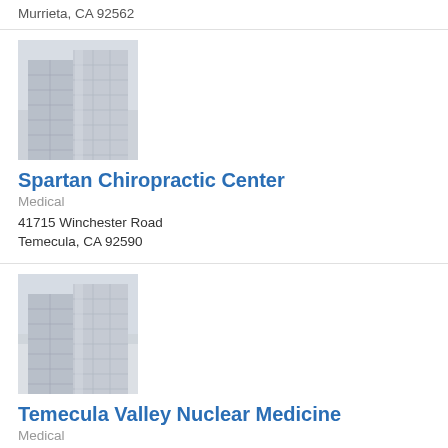Murrieta, CA 92562
[Figure (photo): Placeholder building photo showing glass skyscraper exterior in light gray tones]
Spartan Chiropractic Center
Medical
41715 Winchester Road
Temecula, CA 92590
[Figure (photo): Placeholder building photo showing glass skyscraper exterior in light gray tones]
Temecula Valley Nuclear Medicine
Medical
25485 Medical Center Dr.